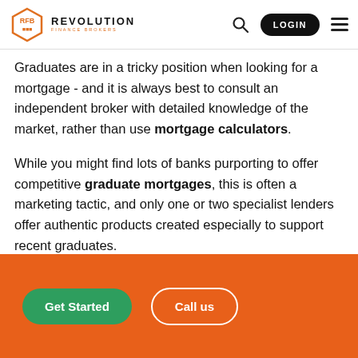REVOLUTION FINANCE BROKERS
Graduates are in a tricky position when looking for a mortgage - and it is always best to consult an independent broker with detailed knowledge of the market, rather than use mortgage calculators.
While you might find lots of banks purporting to offer competitive graduate mortgages, this is often a marketing tactic, and only one or two specialist lenders offer authentic products created especially to support recent graduates.
In some cases, an advertised graduate mortgage is not aimed at university leavers, but at professionals holding